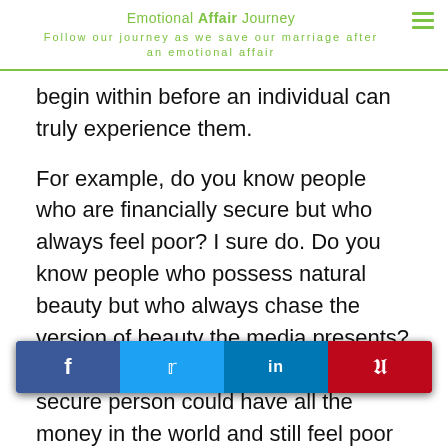Emotional Affair Journey
Follow our journey as we save our marriage after an emotional affair
begin within before an individual can truly experience them.
For example, do you know people who are financially secure but who always feel poor? I sure do. Do you know people who possess natural beauty but who always chase the version of beauty the media presents? I know those people too. A financially secure person could have all the money in the world and still feel poor